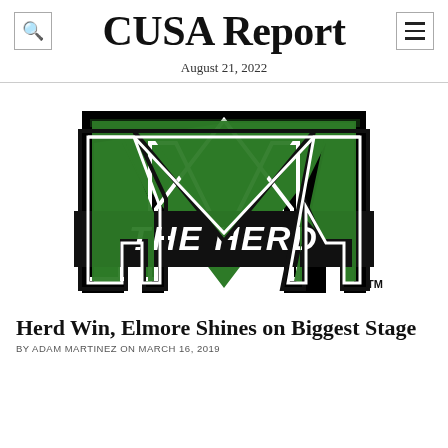CUSA Report
August 21, 2022
[Figure (logo): Marshall University 'The Herd' logo — large green block letter M with black outline and white border, with a black horizontal banner across the middle reading 'THE HERD' in white italic lettering, and a small TM superscript at bottom right]
Herd Win, Elmore Shines on Biggest Stage
BY ADAM MARTINEZ ON MARCH 16, 2019